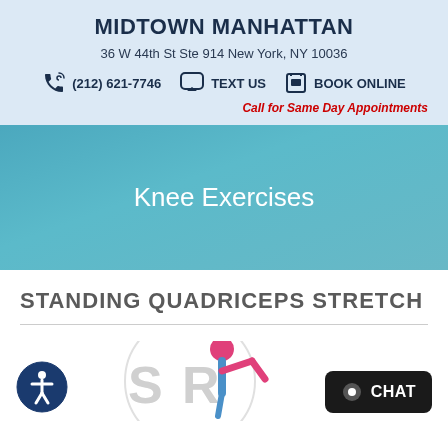MIDTOWN MANHATTAN
36 W 44th St Ste 914 New York, NY 10036
(212) 621-7746   TEXT US   BOOK ONLINE
Call for Same Day Appointments
Knee Exercises
STANDING QUADRICEPS STRETCH
[Figure (illustration): Partial view of exercise illustration showing a person doing standing quadriceps stretch, with accessibility icon on the left and chat button on the right]